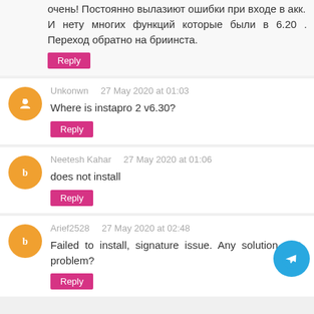очень! Постоянно вылазиют ошибки при входе в акк.
И нету многих функций которые были в 6.20 . Переход обратно на бриинста.
Reply
Unkonwn    27 May 2020 at 01:03
Where is instapro 2 v6.30?
Reply
Neetesh Kahar    27 May 2020 at 01:06
does not install
Reply
Arief2528    27 May 2020 at 02:48
Failed to install, signature issue. Any solution that problem?
Reply